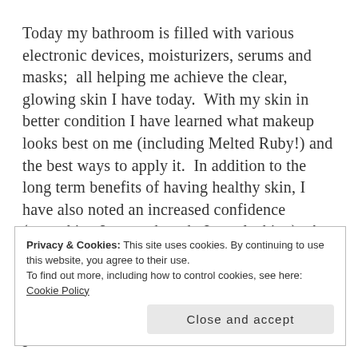Today my bathroom is filled with various electronic devices, moisturizers, serums and masks;  all helping me achieve the clear, glowing skin I have today.  With my skin in better condition I have learned what makeup looks best on me (including Melted Ruby!) and the best ways to apply it.  In addition to the long term benefits of having healthy skin, I have also noted an increased confidence (something I never thought I was lacking).  As people began asking me more and more about my skin care routines and makeup essentials I began toying with the idea of
Privacy & Cookies: This site uses cookies. By continuing to use this website, you agree to their use.
To find out more, including how to control cookies, see here: Cookie Policy
Close and accept
impulsive and a quintessential procrastinator so I